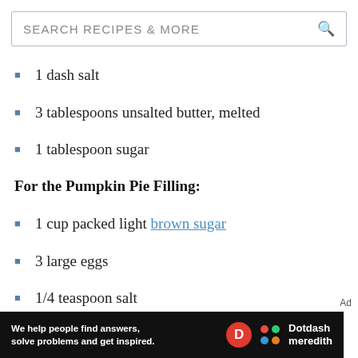SEARCH RECIPES & MORE
1 dash salt
3 tablespoons unsalted butter, melted
1 tablespoon sugar
For the Pumpkin Pie Filling:
1 cup packed light brown sugar
3 large eggs
1/4 teaspoon salt
1 teaspoon ground cinnamon
[Figure (infographic): Dotdash Meredith advertisement banner: 'We help people find answers, solve problems and get inspired.' with Dotdash Meredith logo]